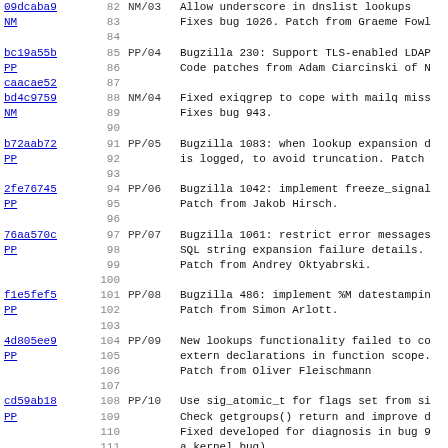09dcaba9  82  NM/03  Allow underscore in dnslist lookups
NM  83  Fixes bug 1026. Patch from Graeme Fowl
84
bc19a55b  85  PP/04  Bugzilla 230: Support TLS-enabled LDAP
PP  86  Code patches from Adam Ciarcinski of N
caacae52  87
bd4c9759  88  NM/04  Fixed exiqgrep to cope with mailq miss
NM  89  Fixes bug 943.
90
b72aab72  91  PP/05  Bugzilla 1083: when lookup expansion d
PP  92  is logged, to avoid truncation. Patch
93
2fe76745  94  PP/06  Bugzilla 1042: implement freeze_signal
PP  95  Patch from Jakob Hirsch.
96
76aa570c  97  PP/07  Bugzilla 1061: restrict error messages
PP  98  SQL string expansion failure details.
99  Patch from Andrey Oktyabrski.
100
f1e5fef5  101  PP/08  Bugzilla 486: implement %M datestampin
PP  102  Patch from Simon Arlott.
103
4d805ee9  104  PP/09  New lookups functionality failed to co
PP  105  extern declarations in function scope.
106  Patch from Oliver Fleischmann
107
cd59ab18  108  PP/10  Use sig_atomic_t for flags set from si
PP  109  Check getgroups() return and improve d
110  Fixed developed for diagnosis in bug 9
111  a kernel bug).
112
332f5cf3  113  PP/11  Bugzilla 1055: Update $message_linecou
PP  114  Patch from Mark Zealey.